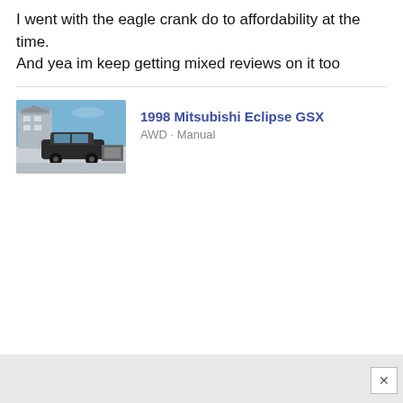I went with the eagle crank do to affordability at the time. And yea im keep getting mixed reviews on it too
[Figure (photo): Photo of a 1998 Mitsubishi Eclipse GSX parked outdoors in a snowy/winter setting]
1998 Mitsubishi Eclipse GSX
AWD · Manual
[Figure (other): Gray advertisement area with close button (X)]